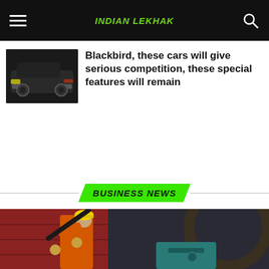Indian Lekhak
Blackbird, these cars will give serious competition, these special features will remain
BUSINESS NEWS
[Figure (photo): Industrial worker in orange coveralls and yellow hard hat operating heavy machinery in a factory setting]